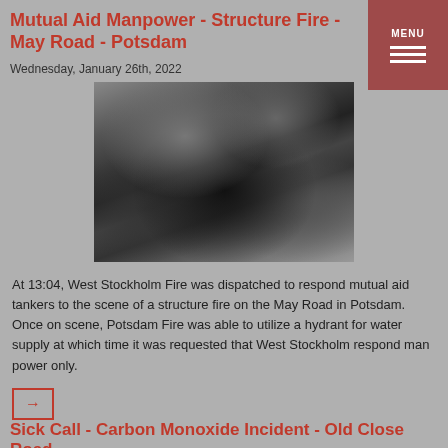Mutual Aid Manpower - Structure Fire - May Road - Potsdam
Wednesday, January 26th, 2022
[Figure (photo): Photo of fire-damaged structure with charred debris, burnt wood, and firefighting equipment visible]
At 13:04, West Stockholm Fire was dispatched to respond mutual aid tankers to the scene of a structure fire on the May Road in Potsdam. Once on scene, Potsdam Fire was able to utilize a hydrant for water supply at which time it was requested that West Stockholm respond man power only.
Sick Call - Carbon Monoxide Incident - Old Close Road
Friday, January 21st, 2022